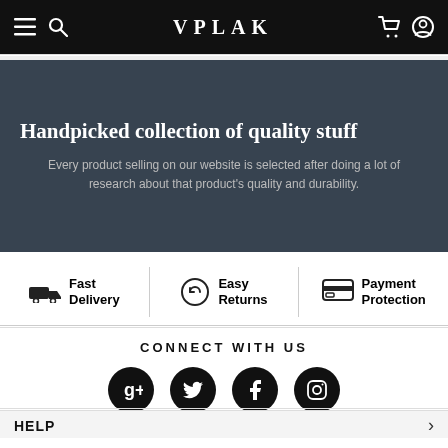VPLAK
Handpicked collection of quality stuff
Every product selling on our website is selected after doing a lot of research about that product's quality and durability.
Fast Delivery
Easy Returns
Payment Protection
CONNECT WITH US
HELP
BUY NOW